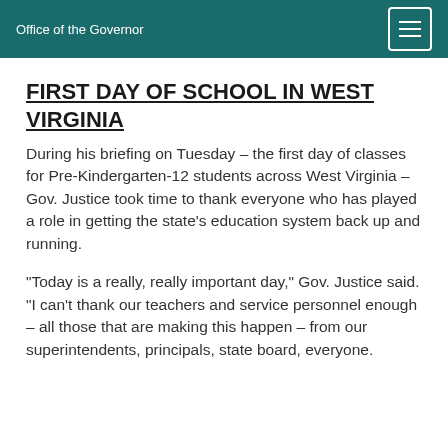Office of the Governor
FIRST DAY OF SCHOOL IN WEST VIRGINIA
During his briefing on Tuesday – the first day of classes for Pre-Kindergarten-12 students across West Virginia – Gov. Justice took time to thank everyone who has played a role in getting the state's education system back up and running.
“Today is a really, really important day,” Gov. Justice said. “I can't thank our teachers and service personnel enough – all those that are making this happen – from our superintendents, principals, state board, everyone.